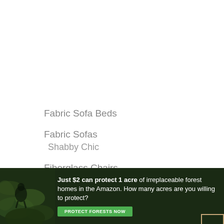Fabric Sofa Beds
Fabric Sofas
Shabby Chic
Fiberglass Chairs
Gaming Chairs
[Figure (photo): Dark forest/nature banner advertisement: 'Just $2 can protect 1 acre of irreplaceable forest homes in the Amazon. How many acres are you willing to protect?' with a green 'PROTECT FORESTS NOW' button and a bird/animal image on the left.]